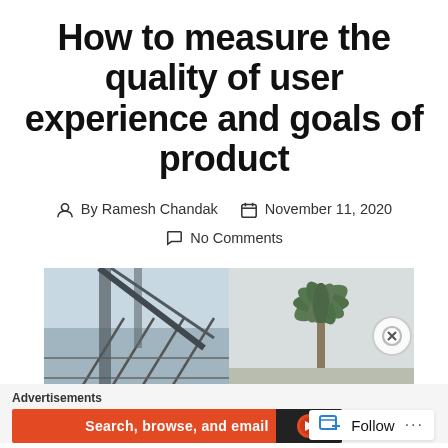How to measure the quality of user experience and goals of product
By Ramesh Chandak   November 11, 2020   No Comments
[Figure (photo): Outdoor photo split into two halves: left shows a chain-link fence and structural steel beams against a light sky; right shows a palm tree against a hazy sky.]
Advertisements  Search, browse, and email
Follow  ...